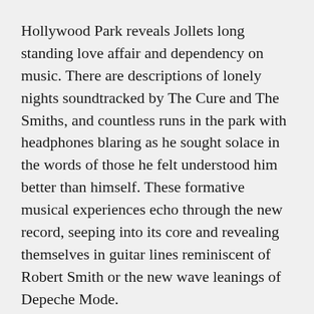Hollywood Park reveals Jollets long standing love affair and dependency on music. There are descriptions of lonely nights soundtracked by The Cure and The Smiths, and countless runs in the park with headphones blaring as he sought solace in the words of those he felt understood him better than himself. These formative musical experiences echo through the new record, seeping into its core and revealing themselves in guitar lines reminiscent of Robert Smith or the new wave leanings of Depeche Mode.
Instead of shying away from their influences, The Aid...